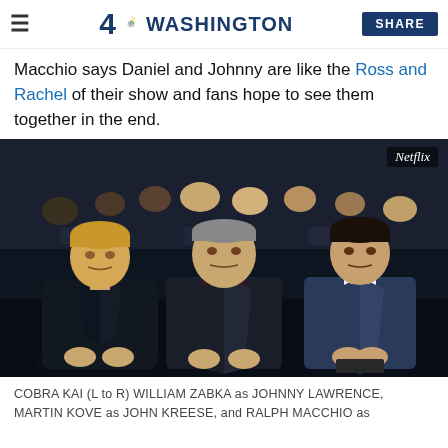4 NBC Washington | SHARE
Macchio says Daniel and Johnny are like the Ross and Rachel of their show and fans hope to see them together in the end.
[Figure (photo): Three men seated in an auditorium-style setting. Left: blond man in black leather jacket. Center: older man in dark jacket. Right: dark-haired man in blue suit with tie. Netflix watermark in top right corner.]
COBRA KAI (L to R) WILLIAM ZABKA as JOHNNY LAWRENCE, MARTIN KOVE as JOHN KREESE, and RALPH MACCHIO as